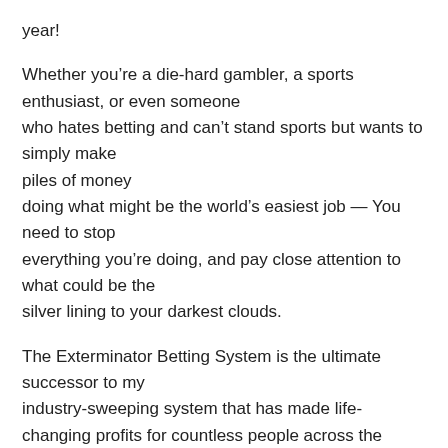year!
Whether you're a die-hard gambler, a sports enthusiast, or even someone who hates betting and can't stand sports but wants to simply make piles of money doing what might be the world's easiest job — You need to stop everything you're doing, and pay close attention to what could be the silver lining to your darkest clouds.
The Exterminator Betting System is the ultimate successor to my industry-sweeping system that has made life-changing profits for countless people across the globe!
“Experience